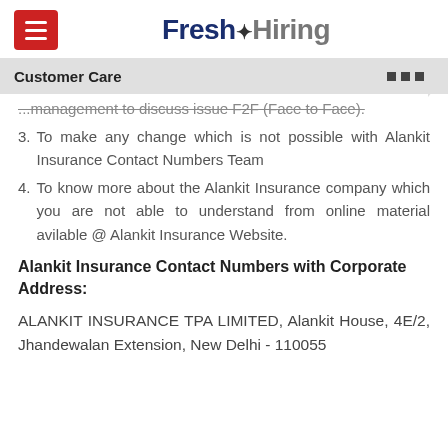Fresh Hiring
Customer Care
...management to discuss issue F2F (Face to Face).
3. To make any change which is not possible with Alankit Insurance Contact Numbers Team
4. To know more about the Alankit Insurance company which you are not able to understand from online material avilable @ Alankit Insurance Website.
Alankit Insurance Contact Numbers with Corporate Address:
ALANKIT INSURANCE TPA LIMITED, Alankit House, 4E/2, Jhandewalan Extension, New Delhi - 110055